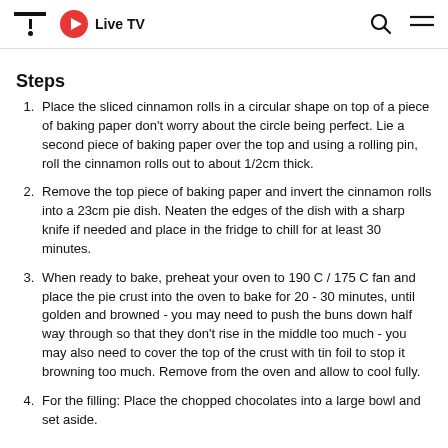Live TV
Steps
Place the sliced cinnamon rolls in a circular shape on top of a piece of baking paper don't worry about the circle being perfect. Lie a second piece of baking paper over the top and using a rolling pin, roll the cinnamon rolls out to about 1/2cm thick.
Remove the top piece of baking paper and invert the cinnamon rolls into a 23cm pie dish. Neaten the edges of the dish with a sharp knife if needed and place in the fridge to chill for at least 30 minutes.
When ready to bake, preheat your oven to 190 C / 175 C fan and place the pie crust into the oven to bake for 20 - 30 minutes, until golden and browned - you may need to push the buns down half way through so that they don't rise in the middle too much - you may also need to cover the top of the crust with tin foil to stop it browning too much. Remove from the oven and allow to cool fully.
For the filling: Place the chopped chocolates into a large bowl and set aside.